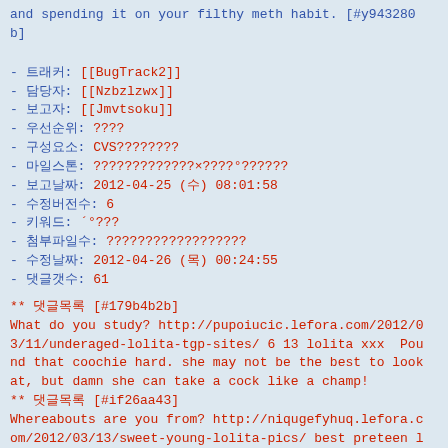and spending it on your filthy meth habit. [#y943280b]
- 트래커: [[BugTrack2]]
- 담당자: [[Nzbzlzwx]]
- 보고자: [[Jmvtsoku]]
- 우선순위: ????
- 구성요소: CVS????????
- 마일스톤: ?????????????×????°??????
- 보고날짜: 2012-04-25 (수) 08:01:58
- 수정버전수: 6
- 키워드: ´°???
- 첨부파일수: ??????????????????
- 수정날짜: 2012-04-26 (목) 00:24:55
- 댓글갯수: 61
** 댓글목록 [#179b4b2b]
What do you study? http://pupoiucic.lefora.com/2012/03/11/underaged-lolita-tgp-sites/ 6 13 lolita xxx  Pound that coochie hard. she may not be the best to look at, but damn she can take a cock like a champ!
** 댓글목록 [#if26aa43]
Whereabouts are you from? http://niqugefyhuq.lefora.com/2012/03/13/sweet-young-lolita-pics/ best preteen lolita rape  damn kara mynor used to be so hot. Look at here eyes in the beginning of the video. Stay off drugs kids, or least stop fucking people for money and spending it on your filthy meth habit.